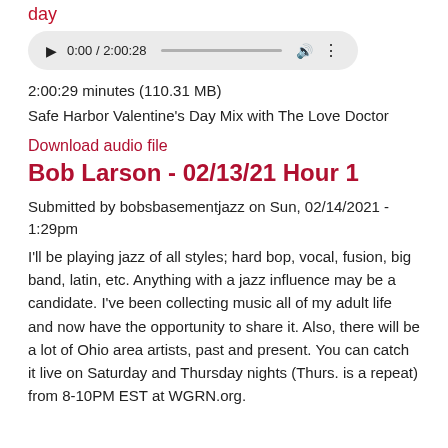day
[Figure (other): Audio player widget showing 0:00 / 2:00:28 with play button, progress bar, volume and more icons on a rounded grey background]
2:00:29 minutes (110.31 MB)
Safe Harbor Valentine's Day Mix with The Love Doctor
Download audio file
Bob Larson - 02/13/21 Hour 1
Submitted by bobsbasementjazz on Sun, 02/14/2021 - 1:29pm
I'll be playing jazz of all styles; hard bop, vocal, fusion, big band, latin, etc. Anything with a jazz influence may be a candidate. I've been collecting music all of my adult life and now have the opportunity to share it. Also, there will be a lot of Ohio area artists, past and present. You can catch it live on Saturday and Thursday nights (Thurs. is a repeat) from 8-10PM EST at WGRN.org.